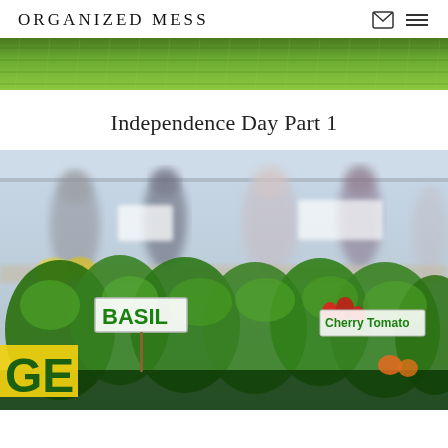ORGANIZED MESS
[Figure (photo): Grass/lawn image at top of page, cropped to show green grass texture]
Independence Day Part 1
[Figure (photo): Outdoor farmers market scene with herbs and plants in foreground including signs reading BASIL and GE (partially cropped), blurred shoppers in background]